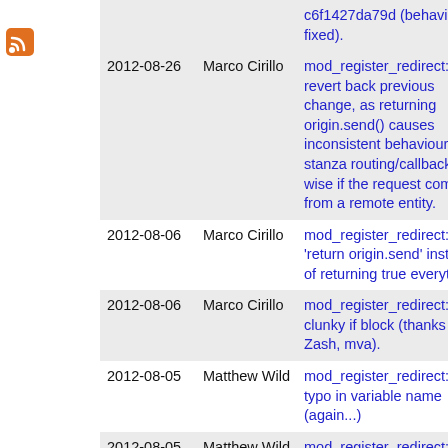[Figure (other): RSS feed icon (orange square with white radio waves)]
| Date | Author | Commit |
| --- | --- | --- |
|  |  | c6f1427da79d (behaviour fixed). |
| 2012-08-26 | Marco Cirillo | mod_register_redirect: revert back previous change, as returning origin.send() causes inconsistent behaviour stanza routing/callbacks wise if the request comes from a remote entity. |
| 2012-08-06 | Marco Cirillo | mod_register_redirect: use 'return origin.send' instead of returning true everytime. |
| 2012-08-06 | Marco Cirillo | mod_register_redirect: fixed clunky if block (thanks Zash, mva). |
| 2012-08-05 | Matthew Wild | mod_register_redirect: Fix typo in variable name (again...) |
| 2012-08-05 | Matthew Wild | mod_register_redirect: Fix usage of incorrect variable name (thanks iron) |
| 2012-06-25 | Marco Cirillo | mod_register_redirect: |